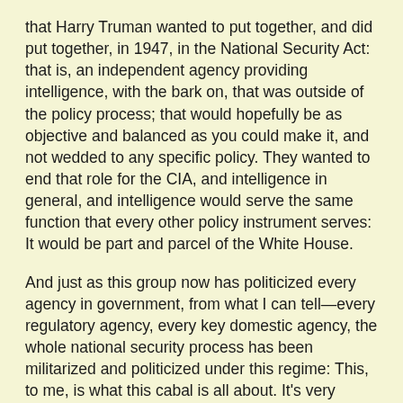that Harry Truman wanted to put together, and did put together, in 1947, in the National Security Act: that is, an independent agency providing intelligence, with the bark on, that was outside of the policy process; that would hopefully be as objective and balanced as you could make it, and not wedded to any specific policy. They wanted to end that role for the CIA, and intelligence in general, and intelligence would serve the same function that every other policy instrument serves: It would be part and parcel of the White House.
And just as this group now has politicized every agency in government, from what I can tell—every regulatory agency, every key domestic agency, the whole national security process has been militarized and politicized under this regime: This, to me, is what this cabal is all about. It's very serious. It won't easily be reversed. It has caused incredible mischief and problems for American national security policy.
Lang: Give me another shot at this, will you? I'd like to revisit what I said, for just a minute here, thinking about that. When Wolfowitz was Undersecretary of Defense for